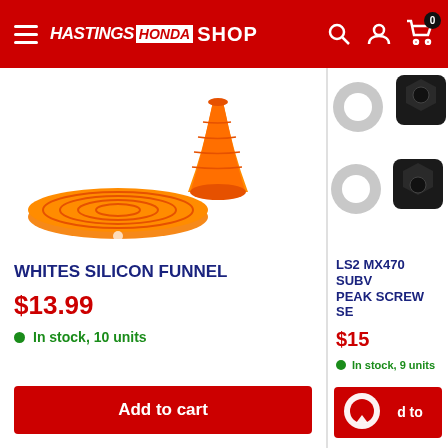HASTINGS HONDA SHOP
[Figure (photo): Orange collapsible silicone funnel shown flat and expanded, on white background]
WHITES SILICON FUNNEL
$13.99
In stock, 10 units
Add to cart
[Figure (photo): Black screw set with grey washers, partial view on white background]
LS2 MX470 SUBV PEAK SCREW SE
$15
In stock, 9 units
d to